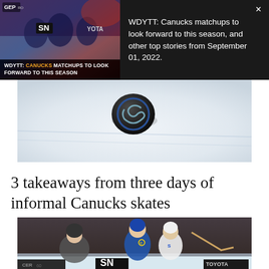[Figure (screenshot): Dark banner with two panels: left panel shows hockey players on ice with WDYTT: CANUCKS MATCHUPS TO LOOK FORWARD TO THIS SEASON overlay text and SN/GEPR/YOTA logos; right panel shows white text on dark background with close X button]
WDYTT: Canucks matchups to look forward to this season, and other top stories from September 01, 2022.
[Figure (photo): Close-up photo of a hockey puck on ice with Canucks logo, viewed from above on a rink surface]
3 takeaways from three days of informal Canucks skates
[Figure (photo): Hockey game photo showing Vancouver Canucks player wearing C captain patch in blue jersey and Seattle Kraken player in white jersey, with crowd in background, SN/GEPR/TOYOTA banners visible at bottom]